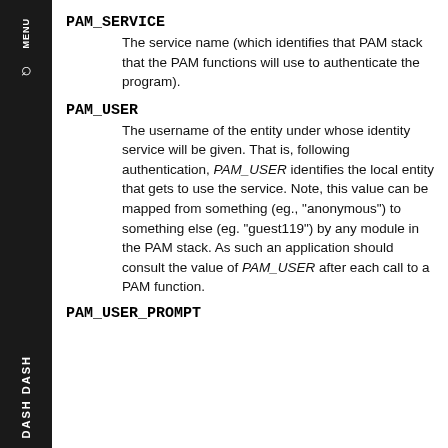PAM_SERVICE
    The service name (which identifies that PAM stack that the PAM functions will use to authenticate the program).
PAM_USER
    The username of the entity under whose identity service will be given. That is, following authentication, PAM_USER identifies the local entity that gets to use the service. Note, this value can be mapped from something (eg., "anonymous") to something else (eg. "guest119") by any module in the PAM stack. As such an application should consult the value of PAM_USER after each call to a PAM function.
PAM_USER_PROMPT